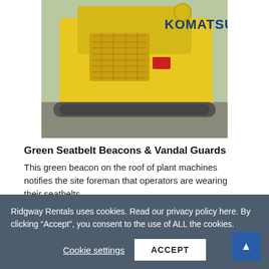[Figure (photo): Yellow Komatsu excavator machinery photographed from the front/side, showing the engine hood and KOMATSU branding in blue letters on yellow body.]
Green Seatbelt Beacons & Vandal Guards
This green beacon on the roof of plant machines notifies the site foreman that operators are wearing their seatbelts.
Quick and easy fitting guards provide complete cab protection when plant machinery is left unattended
Ridgway Rentals uses cookies. Read our privacy policy here. By clicking “Accept”, you consent to the use of ALL the cookies.